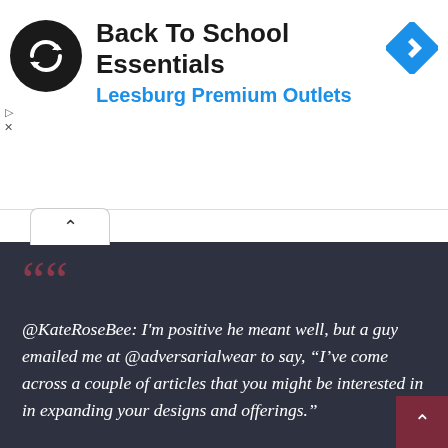[Figure (logo): Black circular logo with double arrow/infinity symbol, ad banner for Back To School Essentials at Leesburg Premium Outlets with blue navigation diamond icon]
Back To School Essentials
Leesburg Premium Outlets
@KateRoseBee: I'm positive he meant well, but a guy emailed me at @adversarialwear to say, “I’ve come across a couple of articles that you might be interested in in expanding your designs and offerings.”

The first article is the Guardian article about me. The second cites me as a source.